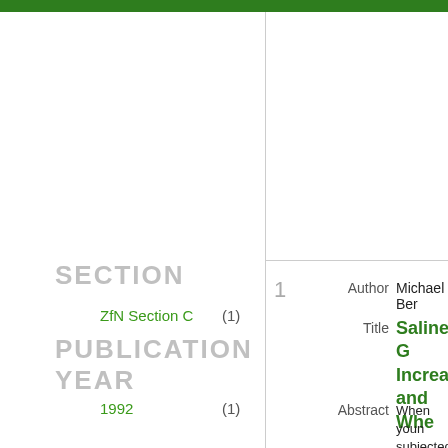SECTION
ZfN Section C (1)
PUBLICATION YEAR
1992 (1)
1
Author Michael Ber...
Title Saline G... Increase... and Whe...
Abstract When youn... subjected to... severity o f... exhibited a... permitted is...